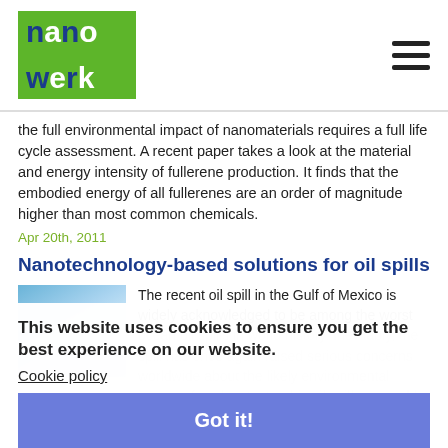[Figure (logo): Nanowerk logo - green rectangle with 'nano' and 'werk' text in blue and white]
the full environmental impact of nanomaterials requires a full life cycle assessment. A recent paper takes a look at the material and energy intensity of fullerene production. It finds that the embodied energy of all fullerenes are an order of magnitude higher than most common chemicals.
Apr 20th, 2011
Nanotechnology-based solutions for oil spills
[Figure (photo): Thumbnail image showing blue water/ocean scene]
The recent oil spill in the Gulf of Mexico is widely acknowledged to be among the worst ocean oil spills in world history. Inevitably, the spill has once again raised serious concerns worldwide about the likely environmental impact of such catastrophic oil spills caused by oil tanker accidents at coast refineries during loading and unloading of oil from tankers at seaports. Numerous solutions have been proposed for dealing with the problem of oil spills. Conventional techniques are not adequate to solve the problem of massive oil spills. In recent years, nanotechnology has emerged as a potential source of
This website uses cookies to ensure you get the best experience on our website.
Cookie policy
Got it!